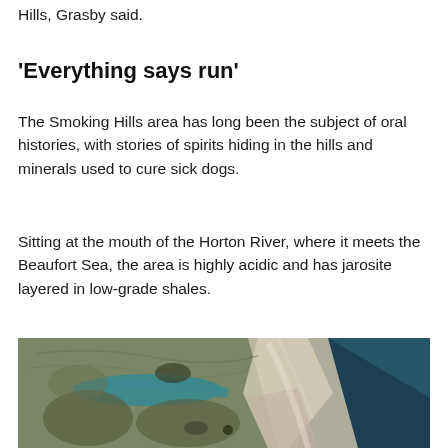Hills, Grasby said.
'Everything says run'
The Smoking Hills area has long been the subject of oral histories, with stories of spirits hiding in the hills and minerals used to cure sick dogs.
Sitting at the mouth of the Horton River, where it meets the Beaufort Sea, the area is highly acidic and has jarosite layered in low-grade shales.
[Figure (photo): Satellite aerial view of the Smoking Hills area at the mouth of the Horton River where it meets the Beaufort Sea, showing teal/blue water, sandy/white coastal features, and brownish-green tundra terrain.]